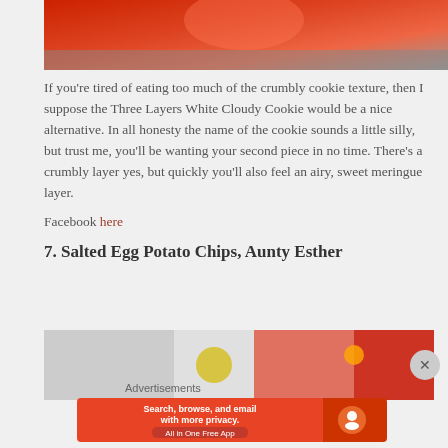[Figure (photo): Top portion of an image showing red and orange colors, appears to be a decorative item or costume]
If you're tired of eating too much of the crumbly cookie texture, then I suppose the Three Layers White Cloudy Cookie would be a nice alternative. In all honesty the name of the cookie sounds a little silly, but trust me, you'll be wanting your second piece in no time. There's a crumbly layer yes, but quickly you'll also feel an airy, sweet meringue layer.
Facebook here
7. Salted Egg Potato Chips, Aunty Esther
[Figure (photo): Photo of people at a market stall, partially visible, showing food products and vendors]
Advertisements
[Figure (screenshot): DuckDuckGo advertisement banner: Search, browse, and email with more privacy. All in One Free App]